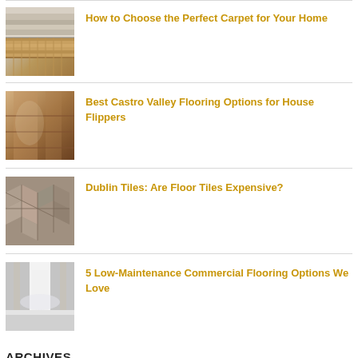[Figure (photo): Thumbnail image of carpet and wood flooring samples]
How to Choose the Perfect Carpet for Your Home
[Figure (photo): Thumbnail image of a home interior with hardwood flooring and staircase]
Best Castro Valley Flooring Options for House Flippers
[Figure (photo): Thumbnail image of decorative floor tiles with diamond pattern]
Dublin Tiles: Are Floor Tiles Expensive?
[Figure (photo): Thumbnail image of a commercial hallway with shiny floor]
5 Low-Maintenance Commercial Flooring Options We Love
ARCHIVES
August 2022